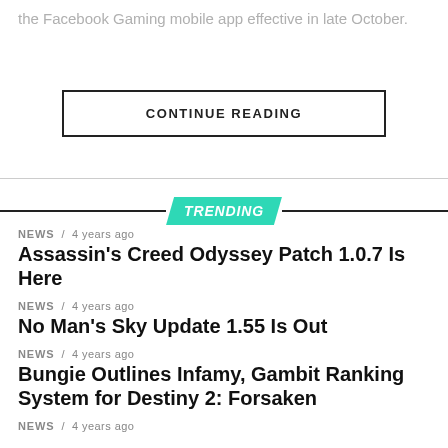the Facebook Gaming mobile app effective in late October.
CONTINUE READING
TRENDING
NEWS / 4 years ago
Assassin’s Creed Odyssey Patch 1.0.7 Is Here
NEWS / 4 years ago
No Man’s Sky Update 1.55 Is Out
NEWS / 4 years ago
Bungie Outlines Infamy, Gambit Ranking System for Destiny 2: Forsaken
NEWS / 4 years ago